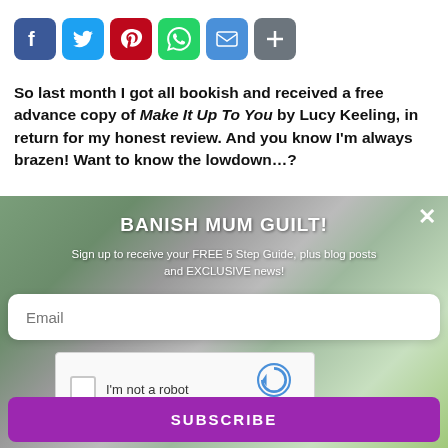[Figure (infographic): Social sharing icons row: Facebook (blue), Twitter (light blue), Pinterest (red), WhatsApp (green), Email (blue), Plus/Share (grey)]
So last month I got all bookish and received a free advance copy of Make It Up To You by Lucy Keeling, in return for my honest review. And you know I’m always brazen! Want to know the lowdown…?
[Figure (screenshot): Email subscription modal overlay with background photo. Heading: BANISH MUM GUILT! Subtext: Sign up to receive your FREE 5 Step Guide, plus blog posts and EXCLUSIVE news! Email input field, reCAPTCHA checkbox, and SUBSCRIBE button.]